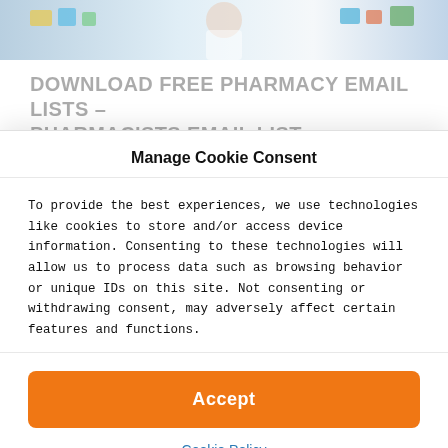[Figure (photo): Pharmacy background photo showing a pharmacist with shelves of medication]
DOWNLOAD FREE PHARMACY EMAIL LISTS – PHARMACISTS EMAIL LIST
Here is another Free Pharmacists Email List for free of charge. This is a list of genuine opt-in email addresses of
Manage Cookie Consent
To provide the best experiences, we use technologies like cookies to store and/or access device information. Consenting to these technologies will allow us to process data such as browsing behavior or unique IDs on this site. Not consenting or withdrawing consent, may adversely affect certain features and functions.
Accept
Cookie Policy